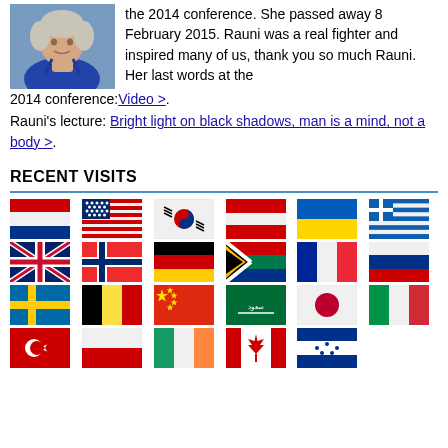[Figure (photo): Photo of an elderly woman with short white/blonde hair wearing a blue jacket, speaking at a conference]
the 2014 conference. She passed away 8 February 2015. Rauni was a real fighter and inspired many of us, thank you so much Rauni. Her last words at the 2014 conference: Video >. Rauni's lecture: Bright light on black shadows, man is a mind, not a body >.
RECENT VISITS
[Figure (infographic): Grid of country flags showing recent website visits: Netherlands, USA, South Korea, Austria, Ukraine, Greece, UK, Norway, Germany, South Africa, France, Russia, Sweden, Belgium, China, Saudi Arabia, Japan, Italy, Turkey, Poland, Ireland, Canada, Honduras]